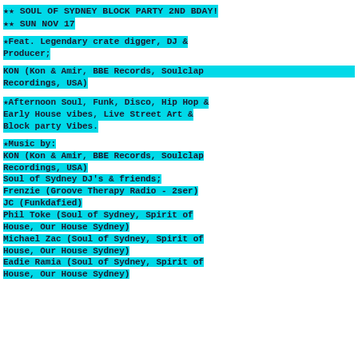★★ SOUL OF SYDNEY BLOCK PARTY 2ND BDAY! ★★ SUN NOV 17
★Feat. Legendary crate digger, DJ & Producer;
KON (Kon & Amir, BBE Records, Soulclap Recordings, USA)
★Afternoon Soul, Funk, Disco, Hip Hop & Early House vibes, Live Street Art & Block party Vibes.
★Music by: KON (Kon & Amir, BBE Records, Soulclap Recordings, USA) Soul of Sydney DJ's & friends; Frenzie (Groove Therapy Radio - 2ser) JC (Funkdafied) Phil Toke (Soul of Sydney, Spirit of House, Our House Sydney) Michael Zac (Soul of Sydney, Spirit of House, Our House Sydney) Eadie Ramia (Soul of Sydney, Spirit of House, Our House Sydney)